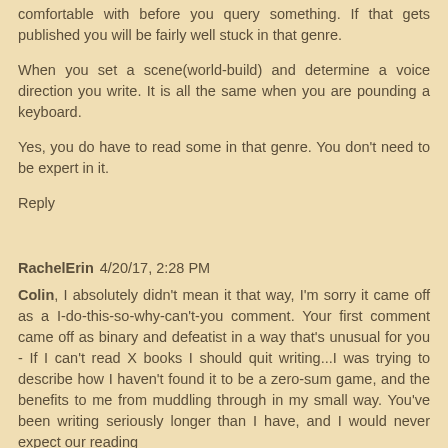comfortable with before you query something. If that gets published you will be fairly well stuck in that genre.
When you set a scene(world-build) and determine a voice direction you write. It is all the same when you are pounding a keyboard.
Yes, you do have to read some in that genre. You don't need to be expert in it.
Reply
RachelErin  4/20/17, 2:28 PM
Colin, I absolutely didn't mean it that way, I'm sorry it came off as a I-do-this-so-why-can't-you comment. Your first comment came off as binary and defeatist in a way that's unusual for you - If I can't read X books I should quit writing...I was trying to describe how I haven't found it to be a zero-sum game, and the benefits to me from muddling through in my small way. You've been writing seriously longer than I have, and I would never expect our reading